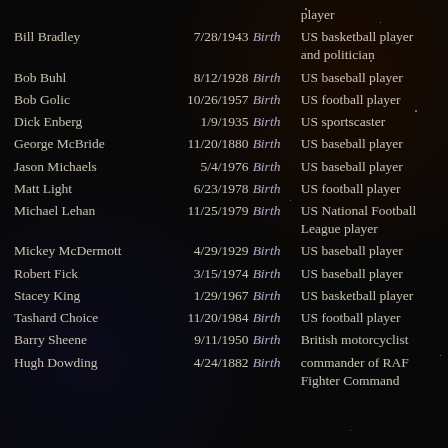| Name | Date | Event | Description |
| --- | --- | --- | --- |
|  |  |  | player |
| Bill Bradley | 7/28/1943 | Birth | US basketball player and politician |
| Bob Buhl | 8/12/1928 | Birth | US baseball player |
| Bob Golic | 10/26/1957 | Birth | US football player |
| Dick Enberg | 1/9/1935 | Birth | US sportscaster |
| George McBride | 11/20/1880 | Birth | US baseball player |
| Jason Michaels | 5/4/1976 | Birth | US baseball player |
| Matt Light | 6/23/1978 | Birth | US football player |
| Michael Lehan | 11/25/1979 | Birth | US National Football League player |
| Mickey McDermott | 4/29/1929 | Birth | US baseball player |
| Robert Fick | 3/15/1974 | Birth | US baseball player |
| Stacey King | 1/29/1967 | Birth | US basketball player |
| Tashard Choice | 11/20/1984 | Birth | US football player |
| Barry Sheene | 9/11/1950 | Birth | British motorcyclist |
| Hugh Dowding | 4/24/1882 | Birth | commander of RAF Fighter Command |